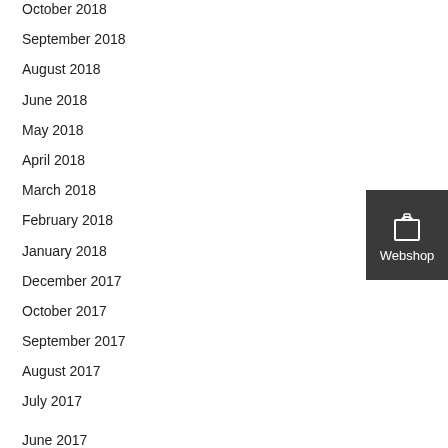October 2018
September 2018
August 2018
June 2018
May 2018
April 2018
March 2018
February 2018
January 2018
December 2017
October 2017
September 2017
August 2017
July 2017
June 2017
[Figure (illustration): Webshop button with shopping bag icon and label 'Webshop' on dark gray background]